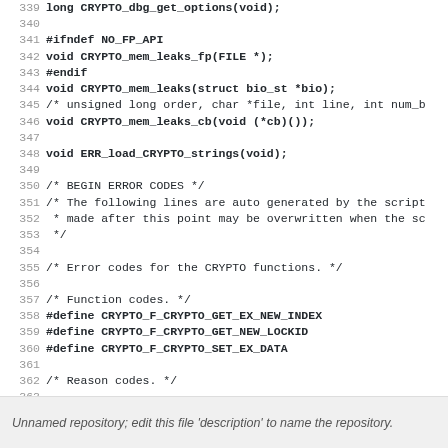[Figure (screenshot): Source code viewer showing lines 339-368 of a C header file with CRYPTO memory leak and error code function declarations]
Unnamed repository; edit this file 'description' to name the repository.